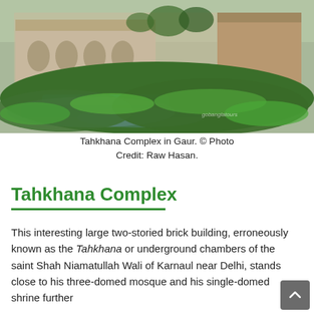[Figure (photo): Photo of Tahkhana Complex in Gaur, showing a large historic brick building in the background with a green water hyacinth-covered water body in the foreground. Watermark reads 'gobanglatours'.]
Tahkhana Complex in Gaur. © Photo Credit: Raw Hasan.
Tahkhana Complex
This interesting large two-storied brick building, erroneously known as the Tahkhana or underground chambers of the saint Shah Niamatullah Wali of Karnaul near Delhi, stands close to his three-domed mosque and his single-domed shrine further